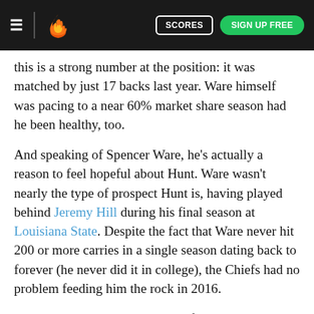≡  [flame logo]  SCORES  SIGN UP FREE
this is a strong number at the position: it was matched by just 17 backs last year. Ware himself was pacing to a near 60% market share season had he been healthy, too.
And speaking of Spencer Ware, he's actually a reason to feel hopeful about Hunt. Ware wasn't nearly the type of prospect Hunt is, having played behind Jeremy Hill during his final season at Louisiana State. Despite the fact that Ware never hit 200 or more carries in a single season dating back to forever (he never did it in college), the Chiefs had no problem feeding him the rock in 2016.
Whether that was due to a lack of competition (Jamaal Charles was done for) or a love for using true three-down backs, it really shouldn't matter